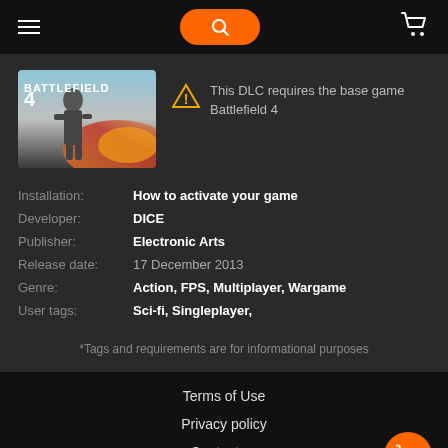Navigation header with hamburger menu, search button, and cart icon
[Figure (illustration): Battlefield 4 game cover art showing a soldier in action with fire and explosions]
This DLC requires the base game Battlefield 4
| Installation: | How to activate your game |
| Developer: | DICE |
| Publisher: | Electronic Arts |
| Release date: | 17 December 2013 |
| Genre: | Action, FPS, Multiplayer, Wargame |
| User tags: | Sci-fi, Singleplayer, |
*Tags and requirements are for informational purposes
Terms of Use
Privacy policy
Contact us